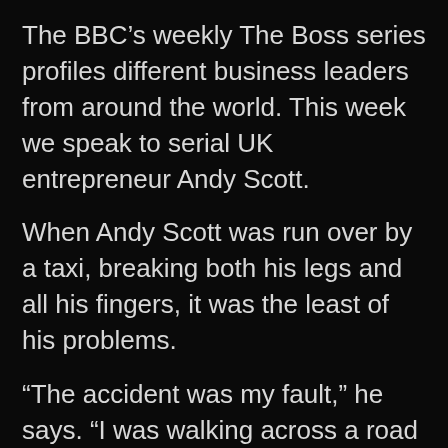The BBC’s weekly The Boss series profiles different business leaders from around the world. This week we speak to serial UK entrepreneur Andy Scott.
When Andy Scott was run over by a taxi, breaking both his legs and all his fingers, it was the least of his problems.
“The accident was my fault,” he says. “I was walking across a road in Washington DC in the early hours of the morning, and looking at emails on my phone.
“I wasn’t paying any attention, and a taxi